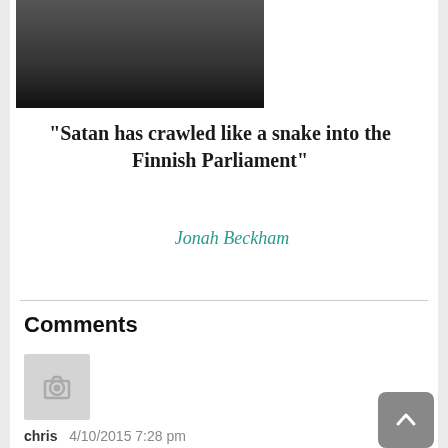[Figure (photo): Black and white photo of a bearded man wearing a dark turtleneck, cropped at top]
“Satan has crawled like a snake into the Finnish Parliament”
Jonah Beckham
Comments
[Figure (photo): Grey avatar placeholder with camera icon]
chris   4/10/2015 7:28 pm
God condemned sodoma and gomorra and placed the dead sea above the sunken 5 cities as to show humans how bad sodomy is. now the trenched patriarch Bart of constantinople is abiding to Satan and his longing of the returning of the Antichrist. MAX gOD BURN